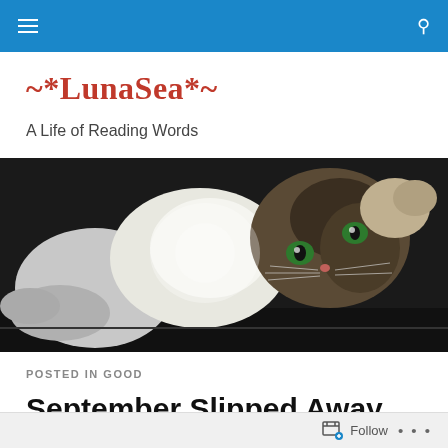≡  🔍
~*LunaSea*~
A Life of Reading Words
[Figure (photo): A tabby cat lying on its back, looking upward with green eyes, on a dark surface with bright light behind it.]
POSTED IN GOOD
September Slipped Away
Follow  •••